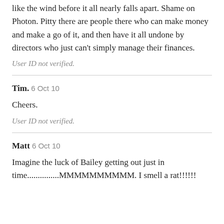like the wind before it all nearly falls apart. Shame on Photon. Pitty there are people there who can make money and make a go of it, and then have it all undone by directors who just can't simply manage their finances.
User ID not verified.
Tim. 6 Oct 10
Cheers.
User ID not verified.
Matt 6 Oct 10
Imagine the luck of Bailey getting out just in time...............MMMMMMMMMM. I smell a rat!!!!!!